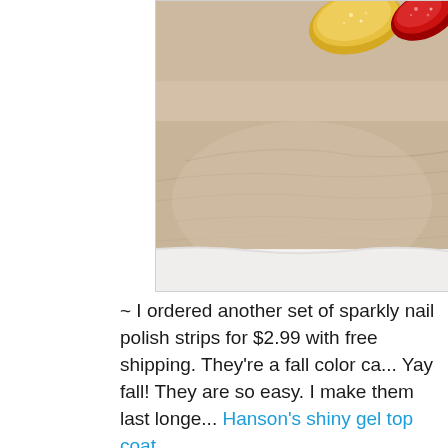[Figure (photo): Close-up photo of a hand with sparkly nail polish strips — red glitter on one nail and gold glitter on another, showing skin texture and wrinkles]
~ I ordered another set of sparkly nail polish strips for $2.99 with free shipping. They're a fall color ca... Yay fall! They are so easy. I make them last longe... Hanson's shiny gel top coat.
[Figure (photo): Photo of a nail polish bottle with a shiny metallic black cap on a textured white surface — appears to be a gel top coat product]